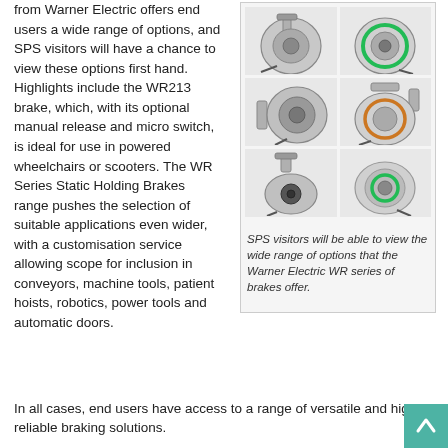from Warner Electric offers end users a wide range of options, and SPS visitors will have a chance to view these options first hand. Highlights include the WR213 brake, which, with its optional manual release and micro switch, is ideal for use in powered wheelchairs or scooters. The WR Series Static Holding Brakes range pushes the selection of suitable applications even wider, with a customisation service allowing scope for inclusion in conveyors, machine tools, patient hoists, robotics, power tools and automatic doors. In all cases, end users have access to a range of versatile and highly reliable braking solutions.
[Figure (photo): Six Warner Electric WR series brake units shown in a 2x3 grid. Various configurations including front and rear views of disc brakes, some with mounting brackets, some with green indicator rings.]
SPS visitors will be able to view the wide range of options that the Warner Electric WR series of brakes offer.